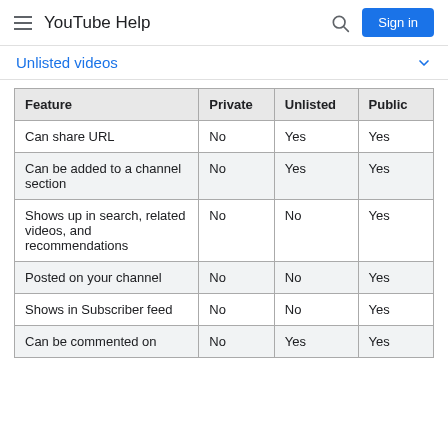YouTube Help
Unlisted videos
| Feature | Private | Unlisted | Public |
| --- | --- | --- | --- |
| Can share URL | No | Yes | Yes |
| Can be added to a channel section | No | Yes | Yes |
| Shows up in search, related videos, and recommendations | No | No | Yes |
| Posted on your channel | No | No | Yes |
| Shows in Subscriber feed | No | No | Yes |
| Can be commented on | No | Yes | Yes |